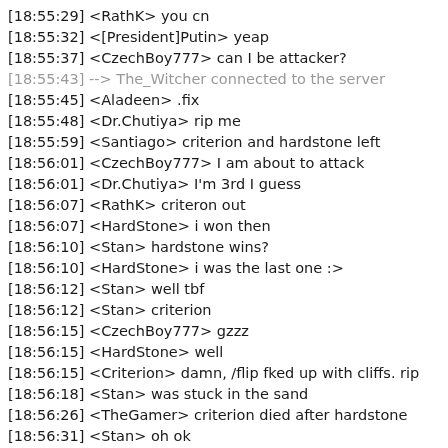[18:55:29] <RathK> you cn
[18:55:32] <[President]Putin> yeap
[18:55:37] <CzechBoy777> can I be attacker?
[18:55:43] --> The_Witcher connected to the server
[18:55:45] <Aladeen> .fix
[18:55:48] <Dr.Chutiya> rip me
[18:55:59] <Santiago> criterion and hardstone left
[18:56:01] <CzechBoy777> I am about to attack
[18:56:01] <Dr.Chutiya> I'm 3rd I guess
[18:56:07] <RathK> criteron out
[18:56:07] <HardStone> i won then
[18:56:10] <Stan> hardstone wins?
[18:56:10] <HardStone> i was the last one :>
[18:56:12] <Stan> well tbf
[18:56:12] <Stan> criterion
[18:56:15] <CzechBoy777> gzzz
[18:56:15] <HardStone> well
[18:56:15] <Criterion> damn, /flip fked up with cliffs. rip
[18:56:18] <Stan> was stuck in the sand
[18:56:26] <TheGamer> criterion died after hardstone
[18:56:31] <Stan> oh ok
[18:56:36] <Ainz> im so glad i atleast took out one guy xD
[18:56:39] <Dr.Chutiya> lol
[18:56:47] <TheGamer> so i guess criterion wins
[18:56:50] <Stan> i took out 3